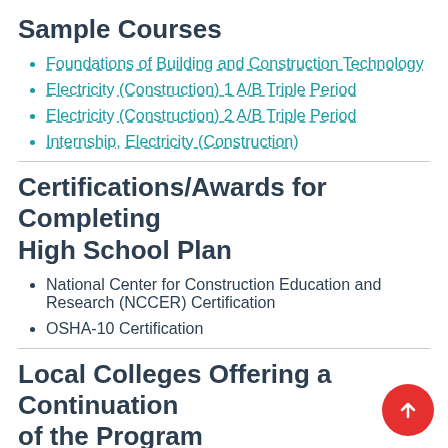Sample Courses
Foundations of Building and Construction Technology
Electricity (Construction) 1 A/B Triple Period
Electricity (Construction) 2 A/B Triple Period
Internship, Electricity (Construction)
Certifications/Awards for Completing High School Plan
National Center for Construction Education and Research (NCCER) Certification
OSHA-10 Certification
Local Colleges Offering a Continuation of the Program